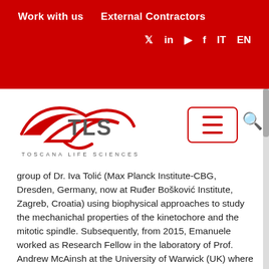Work with us   External Contractors
[Figure (logo): TLS Toscana Life Sciences logo with red swoosh design]
group of Dr. Iva Tolić (Max Planck Institute-CBG, Dresden, Germany, now at Ruđer Bošković Institute, Zagreb, Croatia) using biophysical approaches to study the mechanichal properties of the kinetochore and the mitotic spindle. Subsequently, from 2015, Emanuele worked as Research Fellow in the laboratory of Prof. Andrew McAinsh at the University of Warwick (UK) where he contributed to develop a software for the 3D tracking of fluorescently-labelled proteins. For his project, he set-up in vitro and in vivo cell-based assays to map the architecture of the human kinetochore in response to different mechanical inputs.
Throughout his career, Emanuele was part of several interdisciplinary projects collaborations with biologists,